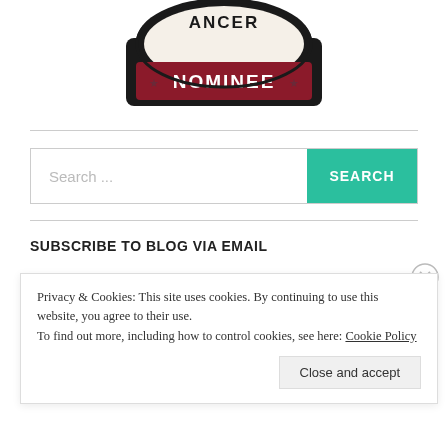[Figure (logo): Cancer nominee badge/logo with dark border, cream top arc with text 'CANCER' visible, and dark red/maroon rectangular banner at bottom with bold white text 'NOMINEE' flanked by star symbols]
Search ...
SEARCH
SUBSCRIBE TO BLOG VIA EMAIL
Privacy & Cookies: This site uses cookies. By continuing to use this website, you agree to their use.
To find out more, including how to control cookies, see here: Cookie Policy
Close and accept